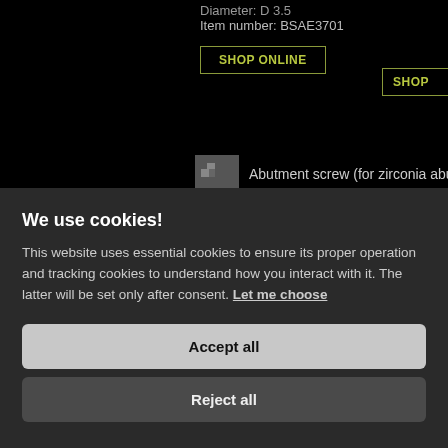Diameter: D 3.5
Item number: BSAE3701
SHOP ONLINE
SHOP
Abutment screw (for zirconia abutme...
[Figure (photo): 3D rendered image of a dental abutment screw, metallic gray, threaded with a cylindrical head]
We use cookies!
This website uses essential cookies to ensure its proper operation and tracking cookies to understand how you interact with it. The latter will be set only after consent. Let me choose
Accept all
Reject all